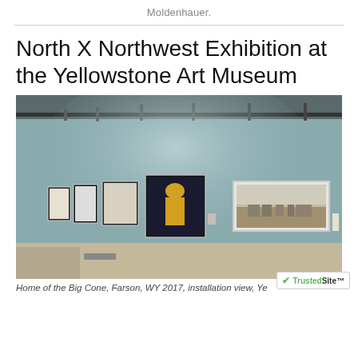Moldenhauer.
North X Northwest Exhibition at the Yellowstone Art Museum
[Figure (photo): Installation view of a gallery with framed photographs hung on a light blue-grey wall, including a large panoramic black and white photograph and several smaller color and black and white works.]
Home of the Big Cone, Farson, WY 2017, installation view, Ye